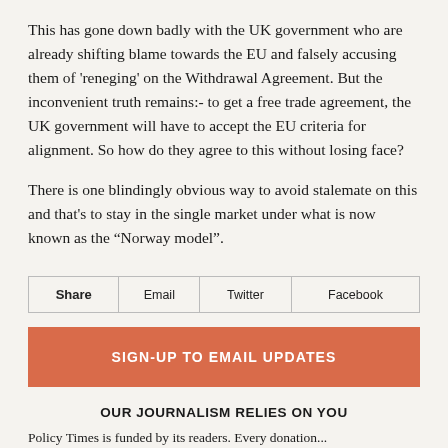This has gone down badly with the UK government who are already shifting blame towards the EU and falsely accusing them of 'reneging' on the Withdrawal Agreement.  But the inconvenient truth remains:- to get a free trade agreement, the UK government will have to accept the EU criteria for alignment. So how do they agree to this without losing face?
There is one blindingly obvious way to avoid stalemate on this and that's to stay in the single market under what is now known as the “Norway model”.
| Share | Email | Twitter | Facebook |
| --- | --- | --- | --- |
SIGN-UP TO EMAIL UPDATES
OUR JOURNALISM RELIES ON YOU
Policy Times is funded by its readers. Every donation...